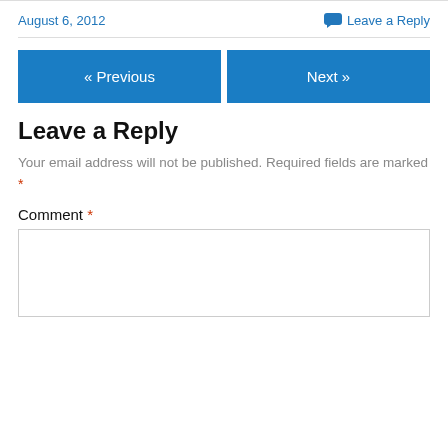August 6, 2012
Leave a Reply
« Previous
Next »
Leave a Reply
Your email address will not be published. Required fields are marked *
Comment *